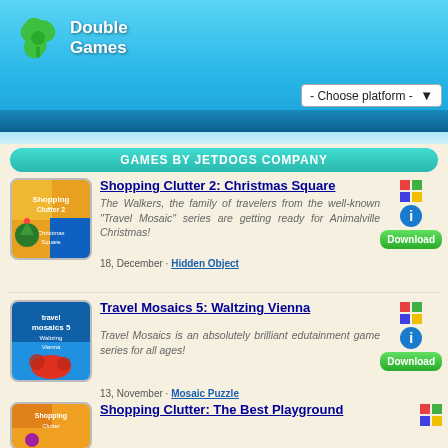Double Games
- Choose platform -
GAMES BY JETDOGS COMPANY
Shopping Clutter 2: Christmas Square
The Walkers, the family of travelers from the well-known "Travel Mosaic" series are getting ready for Christmas!
18, December · Hidden Object
Travel Mosaics 5: Waltzing Vienna
Travel Mosaics is an absolutely brilliant edutainment game series for all ages!
13, November · Mosaic Puzzle
Shopping Clutter: The Best Playground